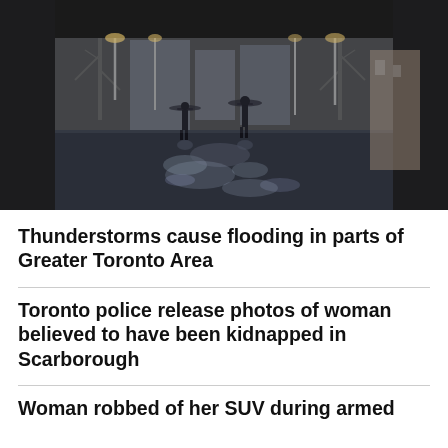[Figure (photo): Two silhouetted people walking with umbrellas on a wet, reflective urban walkway, viewed from under a bridge or overhang, with bare trees and buildings in the background. The scene is rainy and dark.]
Thunderstorms cause flooding in parts of Greater Toronto Area
Toronto police release photos of woman believed to have been kidnapped in Scarborough
Woman robbed of her SUV during armed